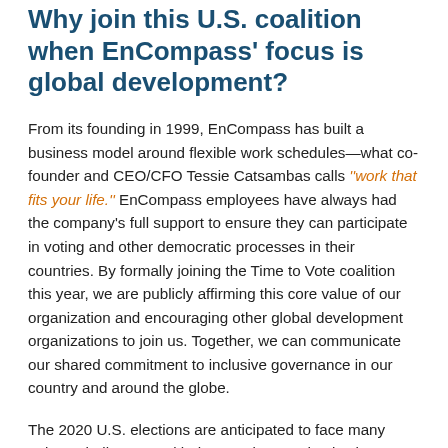Why join this U.S. coalition when EnCompass' focus is global development?
From its founding in 1999, EnCompass has built a business model around flexible work schedules—what co-founder and CEO/CFO Tessie Catsambas calls ''work that fits your life.'' EnCompass employees have always had the company's full support to ensure they can participate in voting and other democratic processes in their countries. By formally joining the Time to Vote coalition this year, we are publicly affirming this core value of our organization and encouraging other global development organizations to join us. Together, we can communicate our shared commitment to inclusive governance in our country and around the globe.
The 2020 U.S. elections are anticipated to face many unique challenges. With the ongoing pandemic, the stakes for removing barriers to voting are higher than ever. Recent primaries have suffered from a lack